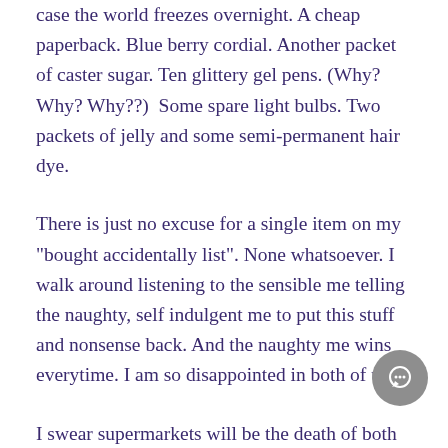case the world freezes overnight. A cheap paperback. Blue berry cordial. Another packet of caster sugar. Ten glittery gel pens. (Why? Why? Why??)  Some spare light bulbs. Two packets of jelly and some semi-permanent hair dye.
There is just no excuse for a single item on my "bought accidentally list". None whatsoever. I walk around listening to the sensible me telling the naughty, self indulgent me to put this stuff and nonsense back. And the naughty me wins everytime. I am so disappointed in both of us.
I swear supermarkets will be the death of both me and my financial  health. Pity I didn't read this before I entered the God forsaken places.